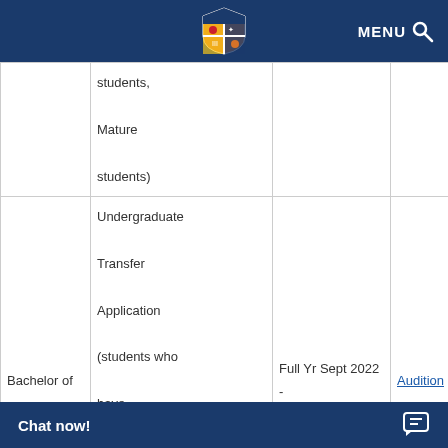MENU [search icon]
|  | Application Type | Duration | Additional Info |
| --- | --- | --- | --- |
|  | students, Mature students) |  |  |
| Bachelor of Music | Undergraduate Transfer Application (students who have completed studies at College or Universi... | Full Yr Sept 2022 - April 2023 only | Audition Required |
Chat now!